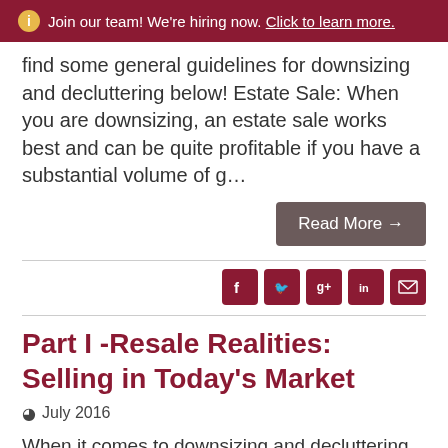ℹ Join our team! We're hiring now. Click to learn more.
find some general guidelines for downsizing and decluttering below! Estate Sale: When you are downsizing, an estate sale works best and can be quite profitable if you have a substantial volume of g…
Read More →
[Figure (infographic): Social media share icons: Facebook, Twitter, Google+, LinkedIn, Email]
Part I -Resale Realities: Selling in Today's Market
July 2016
When it comes to downsizing and decluttering your homes, there are several options for disposing of the items you no longer need or want. You have the choice to donate, sell, toss, gift or recycle items. In most cases, how or why we make the decision to use